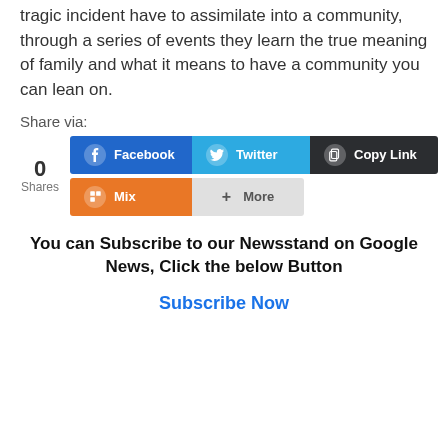tragic incident have to assimilate into a community, through a series of events they learn the true meaning of family and what it means to have a community you can lean on.
Share via:
[Figure (screenshot): Social share buttons: Facebook (blue), Twitter (light blue), Copy Link (dark), Mix (orange), More (gray). Share count shows 0 Shares.]
You can Subscribe to our Newsstand on Google News, Click the below Button
Subscribe Now